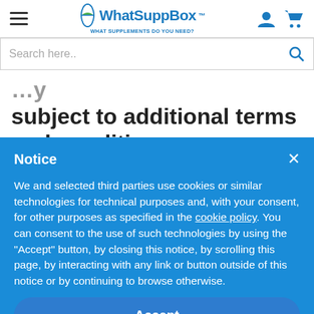WhatSuppBox — WHAT SUPPLEMENTS DO YOU NEED?
subject to additional terms and conditions that may apply when you use affiliate services
Notice
We and selected third parties use cookies or similar technologies for technical purposes and, with your consent, for other purposes as specified in the cookie policy. You can consent to the use of such technologies by using the "Accept" button, by closing this notice, by scrolling this page, by interacting with any link or button outside of this notice or by continuing to browse otherwise.
Accept